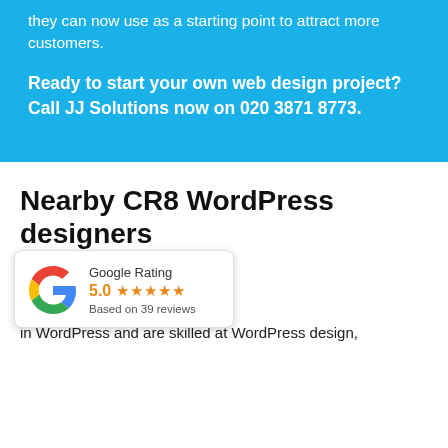they can now use as a starting point to attract more customers.
Ready to start your own web design project? Call JJ Solutions now on 020 3871 8773.
Nearby CR8 WordPress designers
[Figure (other): Google Rating card showing 5.0 stars based on 39 reviews with Google G logo]
rld's No. 1 platform for web elopment. We create many sites in WordPress and are skilled at WordPress design,
CALL JJ FOR A QUOTE